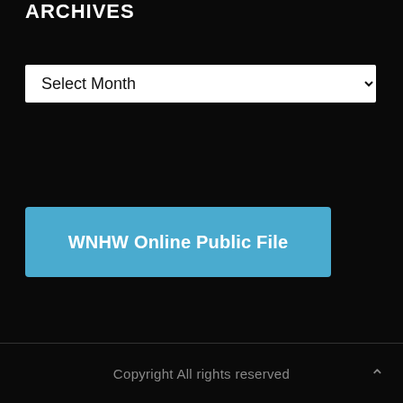ARCHIVES
Select Month
WNHW Online Public File
If you need help accessing the online public file due to a disability, please contact us
EEO
Copyright All rights reserved